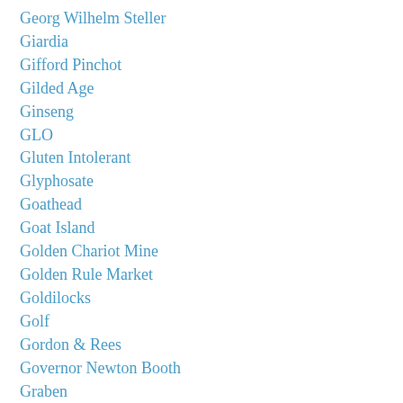Georg Wilhelm Steller
Giardia
Gifford Pinchot
Gilded Age
Ginseng
GLO
Gluten Intolerant
Glyphosate
Goathead
Goat Island
Golden Chariot Mine
Golden Rule Market
Goldilocks
Golf
Gordon & Rees
Governor Newton Booth
Graben
Grace West's Music Box
Grand Canyon Of The Tuolumne
Great Comptche Fire
Great Horned Owl